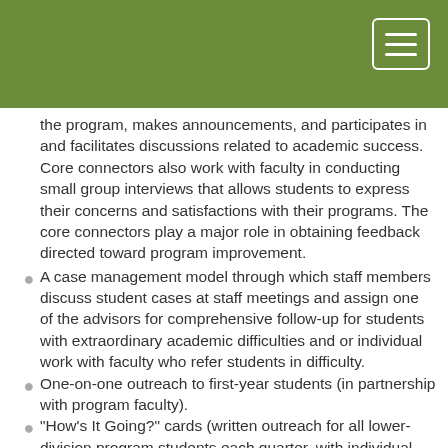the program, makes announcements, and participates in and facilitates discussions related to academic success. Core connectors also work with faculty in conducting small group interviews that allows students to express their concerns and satisfactions with their programs. The core connectors play a major role in obtaining feedback directed toward program improvement.
A case management model through which staff members discuss student cases at staff meetings and assign one of the advisors for comprehensive follow-up for students with extraordinary academic difficulties and or individual work with faculty who refer students in difficulty.
One-on-one outreach to first-year students (in partnership with program faculty).
"How's It Going?" cards (written outreach for all lower-division program students each quarter, with individual follow-up for those expressing difficulties).
The Peer Advisors Program that conducts initial